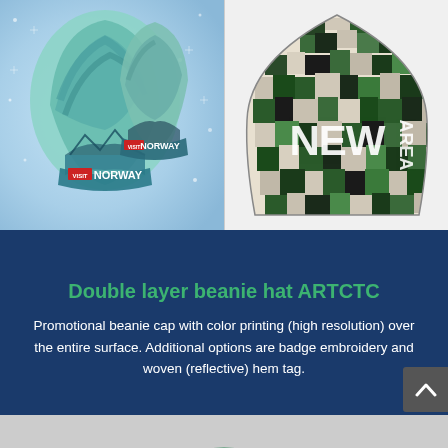[Figure (photo): Left: Two beanies with aurora borealis / Visit Norway full-color print on light blue snowy background. Right: Digital camouflage beanie hat with 'NEW AREA' text on white/grey/green/black pixel camo pattern.]
Double layer beanie hat ARTCTC
Promotional beanie cap with color printing (high resolution) over the entire surface. Additional options are badge embroidery and woven (reflective) hem tag.
[Figure (photo): Partial view of another product (grey and green item) at the bottom of the page.]